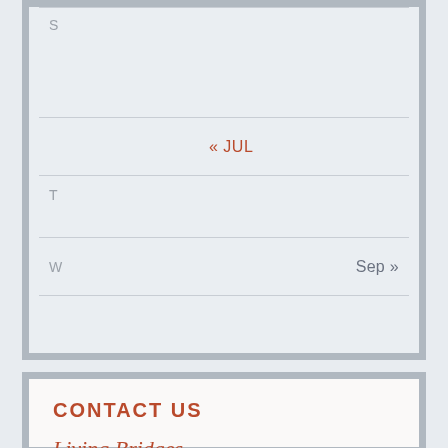| S | « JUL | T | W | Sep » |
| --- | --- | --- | --- | --- |
CONTACT US
Living Bridges